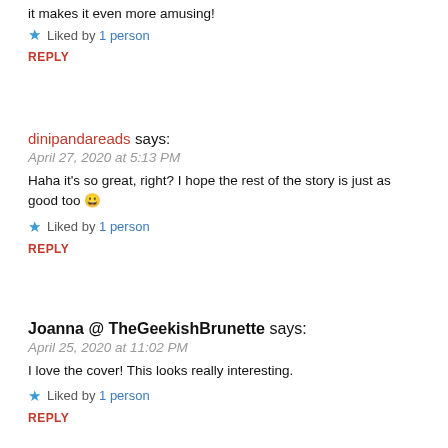it makes it even more amusing!
★ Liked by 1 person
REPLY
dinipandareads says:
April 27, 2020 at 5:13 PM
Haha it's so great, right? I hope the rest of the story is just as good too 😀
★ Liked by 1 person
REPLY
Joanna @ TheGeekishBrunette says:
April 25, 2020 at 11:02 PM
I love the cover! This looks really interesting.
★ Liked by 1 person
REPLY
dinipandareads says: